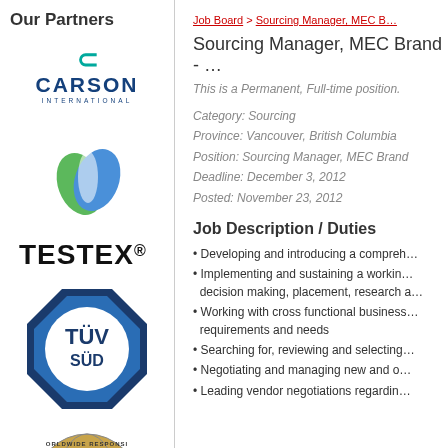Our Partners
[Figure (logo): Carson International logo with teal C icon and bold blue CARSON INTERNATIONAL text]
[Figure (logo): Green and blue leaf/droplet logo]
[Figure (logo): TESTEX® logo in bold black text]
[Figure (logo): TÜV SÜD octagonal badge logo in blue]
[Figure (logo): Worldwide Responsible logo - partial globe]
Job Board > Sourcing Manager, MEC B…
Sourcing Manager, MEC Brand - …
This is a Permanent, Full-time position.
Category: Sourcing
Province: Vancouver, British Columbia
Position: Sourcing Manager, MEC Brand
Deadline: December 3, 2012
Posted: November 23, 2012
Job Description / Duties
Developing and introducing a compreh…
Implementing and sustaining a workin… decision making, placement, research a…
Working with cross functional business… requirements and needs
Searching for, reviewing and selecting…
Negotiating and managing new and o…
Leading vendor negotiations regardin…